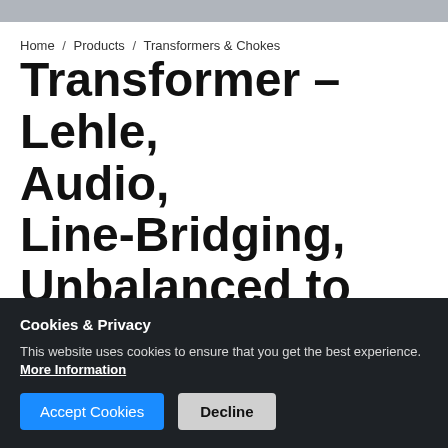Home / Products / Transformers & Chokes
Transformer - Lehle, Audio, Line-Bridging, Unbalanced to Balanced
[Figure (logo): Lehle brand logo: black rectangle with white bold text LEHLE and a white circle]
Cookies & Privacy
This website uses cookies to ensure that you get the best experience. More Information
Accept Cookies | Decline